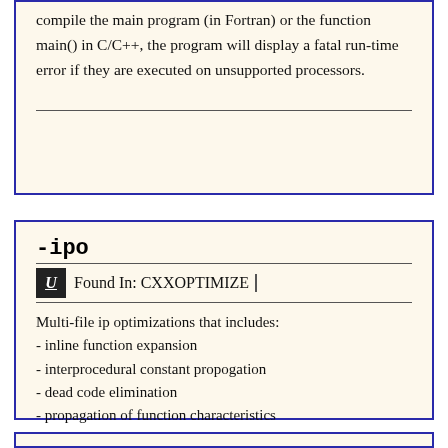compile the main program (in Fortran) or the function main() in C/C++, the program will display a fatal run-time error if they are executed on unsupported processors.
-ipo
Found In: CXXOPTIMIZE
Multi-file ip optimizations that includes:
- inline function expansion
- interprocedural constant propogation
- dead code elimination
- propagation of function characteristics
- passing arguments in registers
- loop-invariant code motion